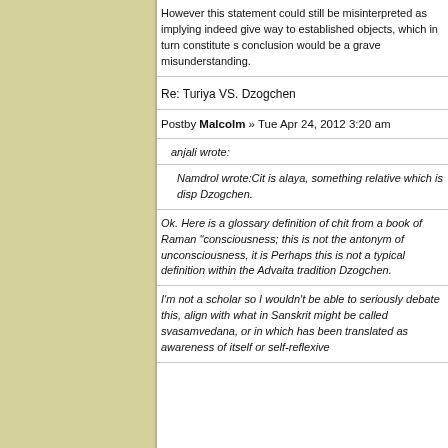However this statement could still be misinterpreted as implying indeed give way to established objects, which in turn constitute s conclusion would be a grave misunderstanding.
Re: Turiya VS. Dzogchen
Postby Malcolm » Tue Apr 24, 2012 3:20 am
anjali wrote:
Namdrol wrote:Cit is alaya, something relative which is disp Dzogchen.
Ok. Here is a glossary definition of chit from a book of Raman "consciousness; this is not the antonym of unconsciousness, it is Perhaps this is not a typical definition within the Advaita tradition Dzogchen.
I'm not a scholar so I wouldn't be able to seriously debate this, align with what in Sanskrit might be called svasamvedana, or in which has been translated as awareness of itself or self-reflexive